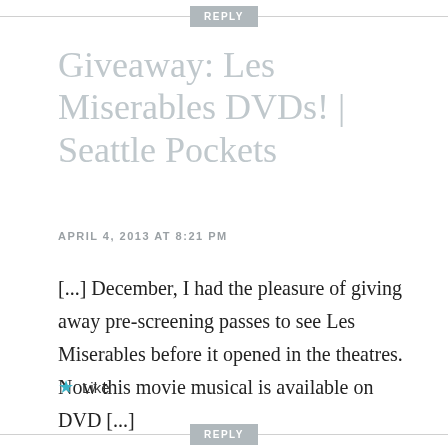REPLY
Giveaway: Les Miserables DVDs! | Seattle Pockets
APRIL 4, 2013 AT 8:21 PM
[...] December, I had the pleasure of giving away pre-screening passes to see Les Miserables before it opened in the theatres. Now this movie musical is available on DVD [...]
★ Like
REPLY